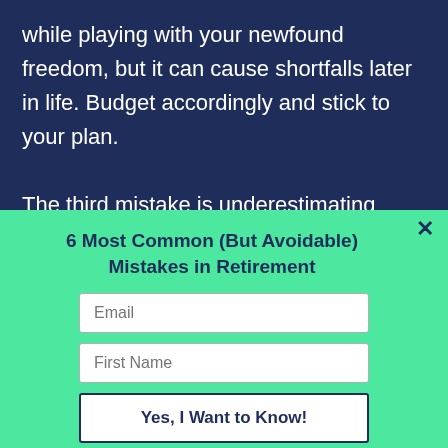while playing with your newfound freedom, but it can cause shortfalls later in life. Budget accordingly and stick to your plan.

The third mistake is underestimating medical expenses - and overestimating Medicare benefits. Avoid surprises by factoring in enough money to supplement Medicare and consider buying added health insurance to fill
6 Most Common (But Avoidable) Mistakes in Retirement
Email
First Name
Yes, I Want to Know!